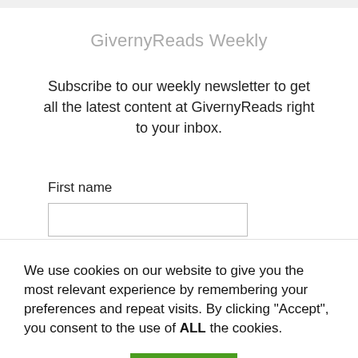GivernyReads Weekly
Subscribe to our weekly newsletter to get all the latest content at GivernyReads right to your inbox.
First name
We use cookies on our website to give you the most relevant experience by remembering your preferences and repeat visits. By clicking “Accept”, you consent to the use of ALL the cookies.
Cookie settings
ACCEPT